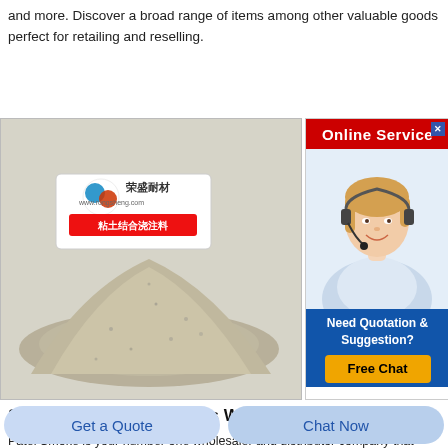and more. Discover a broad range of items among other valuable goods perfect for retailing and reselling.
[Figure (photo): A pile of sandy/powder material (clay bonding castable) with a product label showing Chinese brand '荣盛耐材' and text '粘土结合浇注料']
[Figure (infographic): Online Service advertisement box with red header, photo of a customer service representative wearing a headset, and a 'Free Chat' button. Text: 'Online Service', 'Need Quotation & Suggestion?', 'Free Chat']
Smoke Glass Accessories Wholesale Glass Supplies
Patel Smoke is your number one wholesaler and distributor company that delivers an exceptional line of products to retailers and other wholesale companies. Browse smoke glass accessories including straight tubes glass nails glass sheets
Get a Quote
Chat Now